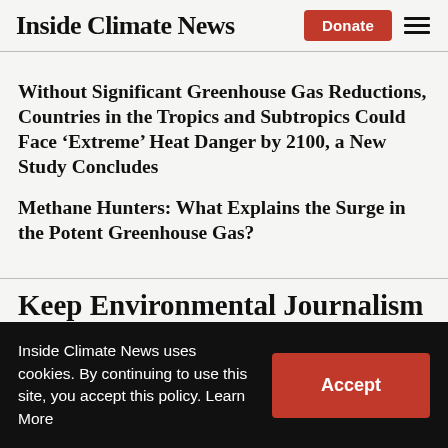Inside Climate News
Without Significant Greenhouse Gas Reductions, Countries in the Tropics and Subtropics Could Face ‘Extreme’ Heat Danger by 2100, a New Study Concludes
Methane Hunters: What Explains the Surge in the Potent Greenhouse Gas?
Keep Environmental Journalism
Inside Climate News uses cookies. By continuing to use this site, you accept this policy. Learn More